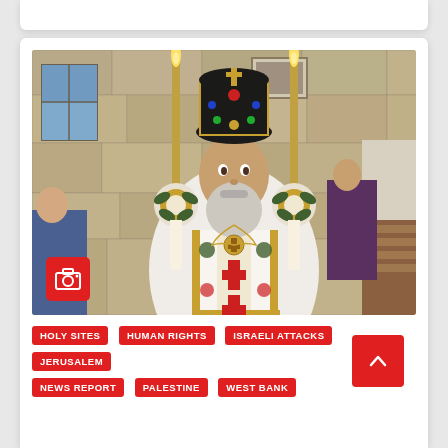[Figure (photo): Orthodox bishop or patriarch in full ceremonial vestments — ornate white and gold robes with red cross embroidery, a tall jeweled mitre crown, holding two large candles decorated with gold and floral ribbon. Standing inside a stone church. A camera icon badge appears in the lower left of the image.]
HOLY SITES
HUMAN RIGHTS
ISRAELI ATTACKS
JERUSALEM
NEWS REPORT
PALESTINE
WEST BANK